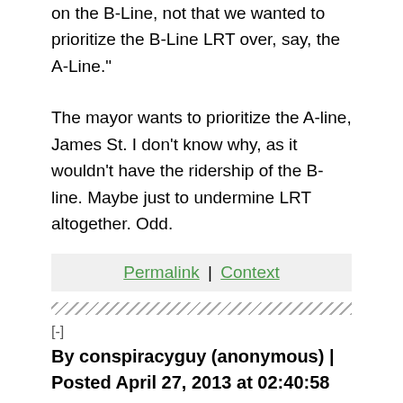on the B-Line, not that we wanted to prioritize the B-Line LRT over, say, the A-Line."
The mayor wants to prioritize the A-line, James St. I don't know why, as it wouldn't have the ridership of the B-line. Maybe just to undermine LRT altogether. Odd.
Permalink | Context
[-]
By conspiracyguy (anonymous) | Posted April 27, 2013 at 02:40:58
Just a thought - but Bob has had a real hate-on for James since most didn't support him in the election. I could see the